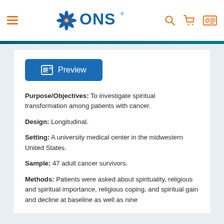[Figure (logo): ONS (Oncology Nursing Society) logo with blue starburst icon and blue text, navigation bar with hamburger menu, search icon, cart icon, and user card icon in orange]
[Figure (other): Blue Preview button with document icon]
Purpose/Objectives: To investigate spiritual transformation among patients with cancer.
Design: Longitudinal.
Setting: A university medical center in the midwestern United States.
Sample: 47 adult cancer survivors.
Methods: Patients were asked about spirituality, religious and spiritual importance, religious coping, and spiritual gain and decline at baseline as well as nine